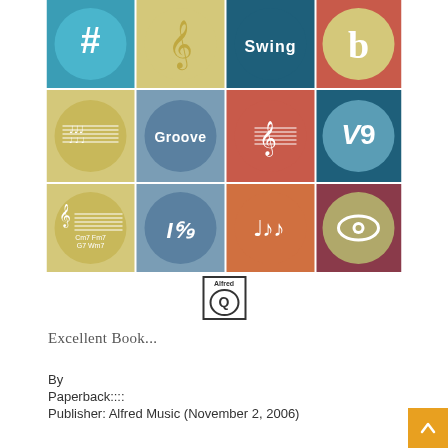[Figure (illustration): Book cover for a music education book published by Alfred Music. A colorful 4x3 grid of squares with teal, yellow, navy, and red backgrounds, each containing a circle with music-related symbols: sharp sign (#), treble clef, 'Swing' text, flat sign (b), music sheet notation, 'Groove' text, treble clef with notes, 'V9' text, music staff with chords, 'I6/9' text, music notes, and an eye/whole note symbol. Alfred publisher logo beneath.]
Excellent Book...
By
Paperback:::.
Publisher: Alfred Music (November 2, 2006)